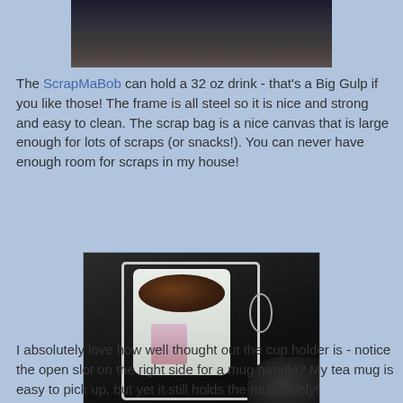[Figure (photo): Partial view of a photo at top of page, dark background]
The ScrapMaBob can hold a 32 oz drink - that's a Big Gulp if you like those!  The frame is all steel so it is nice and strong and easy to clean.  The scrap bag is a nice canvas that is large enough for lots of scraps (or snacks!).  You can never have enough room for scraps in my house!
[Figure (photo): A mug held in a steel wire cup holder mounted on what appears to be a scrapbooking workstation. The mug contains coffee and has a photo on it. The holder has an open slot on the right side for the mug handle.]
I absolutely love how well thought out the cup holder is - notice the open slot on the right side for a mug handle?  My tea mug is easy to pick up, but yet it still holds the mug safely!